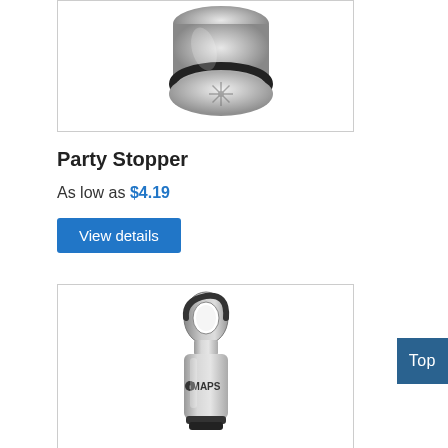[Figure (photo): Close-up photo of a metallic Party Stopper bottle stopper product, showing the top portion with a decorative snowflake-like pattern on the cap]
Party Stopper
As low as $4.19
View details
[Figure (photo): Photo of a metallic wine bottle stopper with a ring handle at the top and 'MAPS' branding on it, with black rubber accents at the bottom]